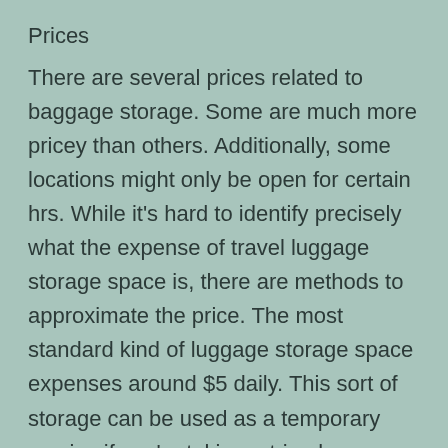Prices
There are several prices related to baggage storage. Some are much more pricey than others. Additionally, some locations might only be open for certain hrs. While it’s hard to identify precisely what the expense of travel luggage storage space is, there are methods to approximate the price. The most standard kind of luggage storage space expenses around $5 daily. This sort of storage can be used as a temporary service if you’re taking a trip alone or simply require a location to save your bag momentarily.